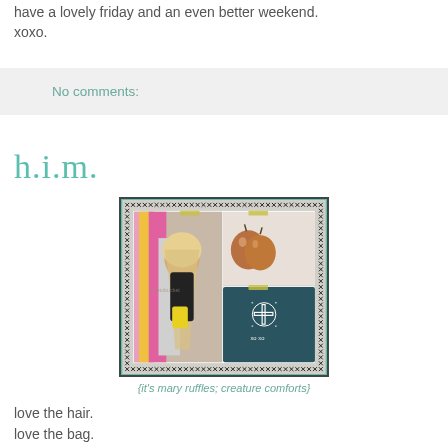have a lovely friday and an even better weekend. xoxo.
No comments:
h.i.m.
[Figure (photo): Collage image with cross-stitch border: left panel shows a woman with long blonde hair shopping among colorful clothing with a yellow bag; top-right panel shows two brown decorative apples; bottom-right panel shows a dark teal card with a cross/plus symbol and text 'xo xo'. Watermark reads 'photobucket'.]
{it's mary ruffles; creature comforts}
love the hair.
love the bag.